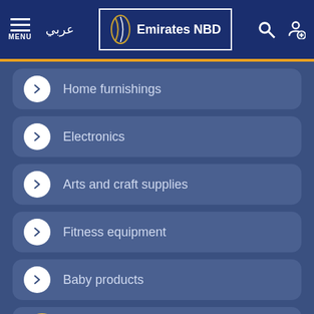[Figure (screenshot): Emirates NBD bank app navigation bar with hamburger menu, Arabic text, Emirates NBD logo, search icon, and account icon on a dark blue background with orange bottom border]
Home furnishings
Electronics
Arts and craft supplies
Fitness equipment
Baby products
Cosmetics